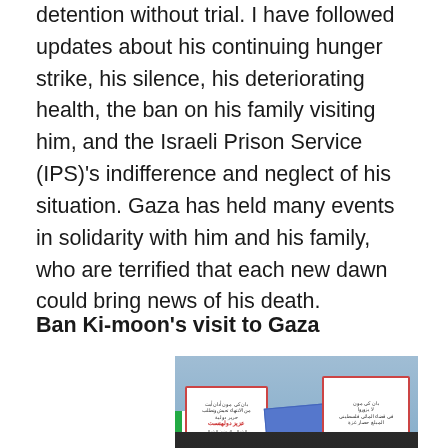detention without trial. I have followed updates about his continuing hunger strike, his silence, his deteriorating health, the ban on his family visiting him, and the Israeli Prison Service (IPS)'s indifference and neglect of his situation. Gaza has held many events in solidarity with him and his family, who are terrified that each new dawn could bring news of his death.
Ban Ki-moon's visit to Gaza
[Figure (photo): Protesters holding signs in Arabic and English. One English sign reads 'Ban Ki-moon Enough bias For Israel'. Other signs are in Arabic. People dressed in dark clothing, blue sky in background.]